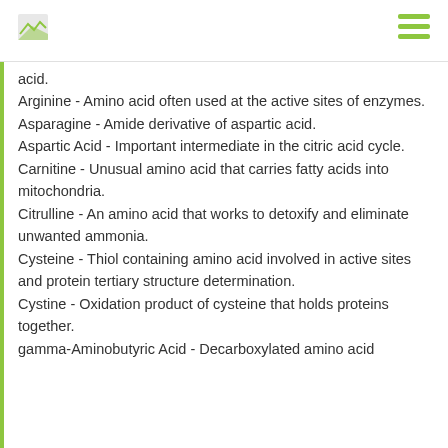acid.
Arginine - Amino acid often used at the active sites of enzymes.
Asparagine - Amide derivative of aspartic acid.
Aspartic Acid - Important intermediate in the citric acid cycle.
Carnitine - Unusual amino acid that carries fatty acids into mitochondria.
Citrulline - An amino acid that works to detoxify and eliminate unwanted ammonia.
Cysteine - Thiol containing amino acid involved in active sites and protein tertiary structure determination.
Cystine - Oxidation product of cysteine that holds proteins together.
gamma-Aminobutyric Acid - Decarboxylated amino acid